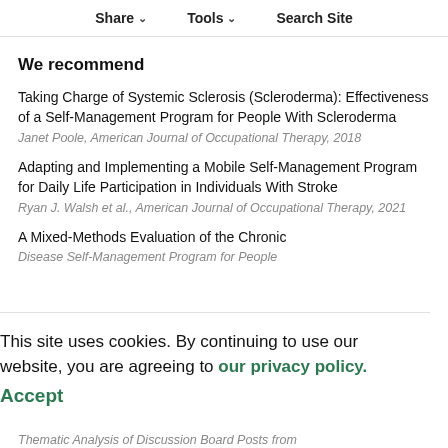Share   Tools   Search Site
We recommend
Taking Charge of Systemic Sclerosis (Scleroderma): Effectiveness of a Self-Management Program for People With Scleroderma
Janet Poole, American Journal of Occupational Therapy, 2018
Adapting and Implementing a Mobile Self-Management Program for Daily Life Participation in Individuals With Stroke
Ryan J. Walsh et al., American Journal of Occupational Therapy, 2021
A Mixed-Methods Evaluation of the Chronic Disease Self-Management Program for People
This site uses cookies. By continuing to use our website, you are agreeing to our privacy policy. Accept
Thematic Analysis of Discussion Board Posts from